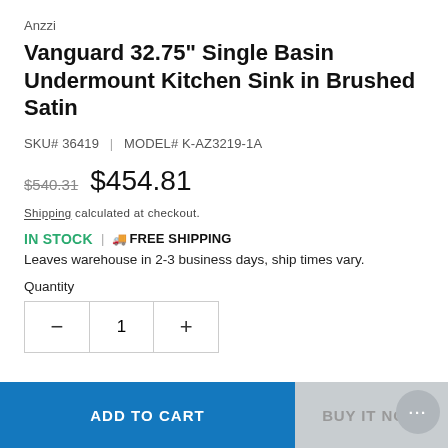Anzzi
Vanguard 32.75" Single Basin Undermount Kitchen Sink in Brushed Satin
SKU# 36419 | MODEL# K-AZ3219-1A
$540.31  $454.81
Shipping calculated at checkout.
IN STOCK | 🚚 FREE SHIPPING
Leaves warehouse in 2-3 business days, ship times vary.
Quantity
− 1 +
ADD TO CART
BUY IT NOW